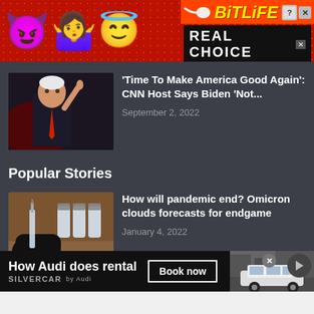[Figure (illustration): BitLife app advertisement banner with emojis (devil, woman shrugging, angel) on red dotted background, with BitLife logo and 'REAL CHOICE' text]
[Figure (photo): Thumbnail photo of Joe Biden pointing finger upward against dark background]
'Time To Make America Good Again': CNN Host Says Biden 'Not...
September 2, 2022
Popular Stories
[Figure (photo): Thumbnail photo of gloved hand with syringe and vaccine vials on wooden surface]
How will pandemic end? Omicron clouds forecasts for endgame
January 4, 2022
[Figure (illustration): Silvercar by Audi advertisement. Text: 'How Audi does rental', 'SILVERCAR by Audi', 'Book now' button, Audi SUV car image on right]